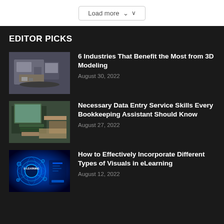[Figure (screenshot): Load more button with dropdown chevron on white background]
EDITOR PICKS
[Figure (photo): 3D rendered isometric room with furniture and decor]
6 Industries That Benefit the Most from 3D Modeling
August 30, 2022
[Figure (photo): Person typing on keyboard at desk with computer monitor]
Necessary Data Entry Service Skills Every Bookkeeping Assistant Should Know
August 27, 2022
[Figure (photo): E-Learning concept with glowing blue digital globe and circuit elements]
How to Effectively Incorporate Different Types of Visuals in eLearning
August 12, 2022